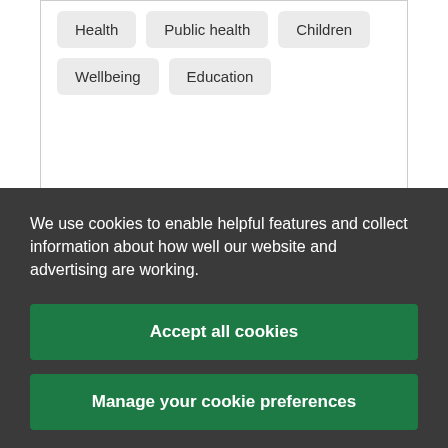Health
Public health
Children
Wellbeing
Education
Related news
We use cookies to enable helpful features and collect information about how well our website and advertising are working.
Accept all cookies
Manage your cookie preferences